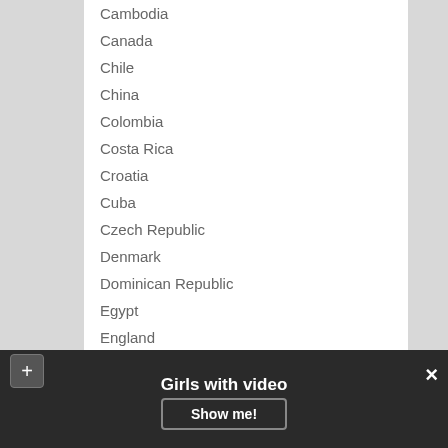Cambodia
Canada
Chile
China
Colombia
Costa Rica
Croatia
Cuba
Czech Republic
Denmark
Dominican Republic
Egypt
England
Estonia
Finland
France
Germany
Greece
Greenland
Girls with video
Show me!